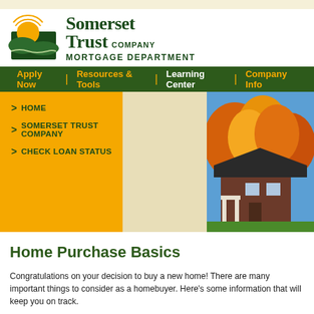[Figure (logo): Somerset Trust Company Mortgage Department logo with orange sun and green hills icon]
Apply Now | Resources & Tools | Learning Center | Company Info
> HOME
> SOMERSET TRUST COMPANY
> CHECK LOAN STATUS
[Figure (photo): Autumn scene with a house and orange/yellow trees]
Home Purchase Basics
Congratulations on your decision to buy a new home! There are many important things to consider as a homebuyer. Here's some information that will keep you on track.